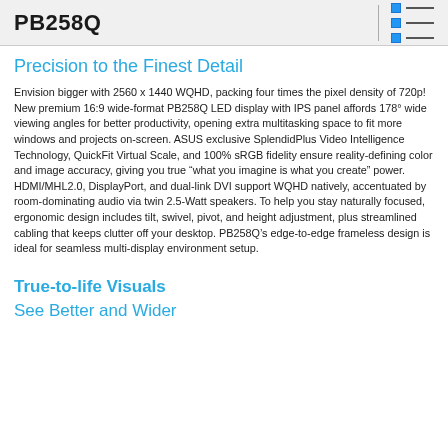PB258Q
Precision to the Finest Detail
Envision bigger with 2560 x 1440 WQHD, packing four times the pixel density of 720p! New premium 16:9 wide-format PB258Q LED display with IPS panel affords 178° wide viewing angles for better productivity, opening extra multitasking space to fit more windows and projects on-screen. ASUS exclusive SplendidPlus Video Intelligence Technology, QuickFit Virtual Scale, and 100% sRGB fidelity ensure reality-defining color and image accuracy, giving you true “what you imagine is what you create” power. HDMI/MHL2.0, DisplayPort, and dual-link DVI support WQHD natively, accentuated by room-dominating audio via twin 2.5-Watt speakers. To help you stay naturally focused, ergonomic design includes tilt, swivel, pivot, and height adjustment, plus streamlined cabling that keeps clutter off your desktop. PB258Q’s edge-to-edge frameless design is ideal for seamless multi-display environment setup.
True-to-life Visuals
See Better and Wider